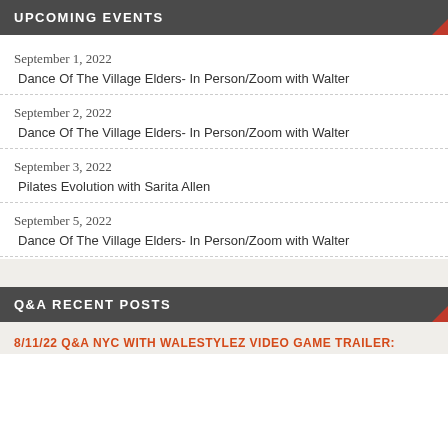UPCOMING EVENTS
September 1, 2022
Dance Of The Village Elders- In Person/Zoom with Walter
September 2, 2022
Dance Of The Village Elders- In Person/Zoom with Walter
September 3, 2022
Pilates Evolution with Sarita Allen
September 5, 2022
Dance Of The Village Elders- In Person/Zoom with Walter
Q&A RECENT POSTS
8/11/22 Q&A NYC WITH WALESTYLEZ VIDEO GAME TRAILER: